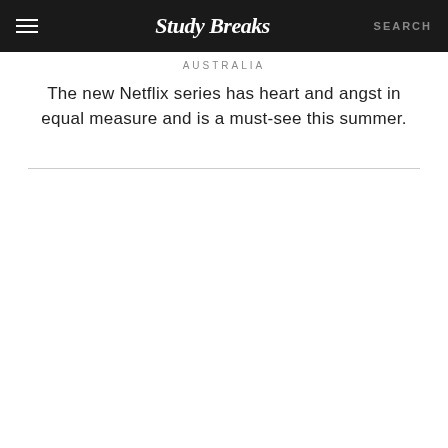Study Breaks  SEARCH
AUSTRALIA
The new Netflix series has heart and angst in equal measure and is a must-see this summer.